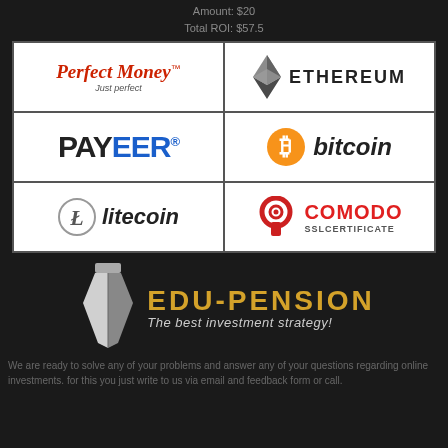Amount: $20
Total ROI: $57.5
[Figure (logo): Grid of 6 payment/crypto logos: Perfect Money, Ethereum, Payeer, Bitcoin, Litecoin, Comodo SSL Certificate]
[Figure (logo): EDU-PENSION brand logo with tie illustration and tagline: The best investment strategy!]
We are ready to solve any of your problems and answer any of your questions regarding online investments. for this you just write to us via email and feedback form or call.